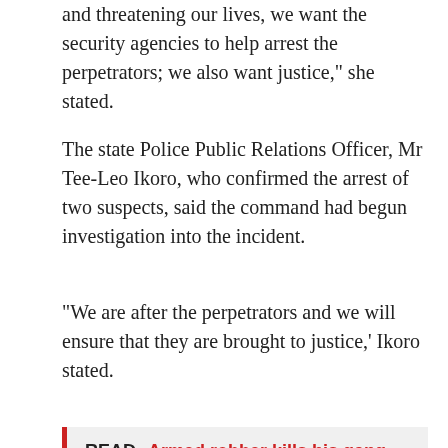and threatening our lives, we want the security agencies to help arrest the perpetrators; we also want justice," she stated.
The state Police Public Relations Officer, Mr Tee-Leo Ikoro, who confirmed the arrest of two suspects, said the command had begun investigation into the incident.
“We are after the perpetrators and we will ensure that they are brought to justice,’ Ikoro stated.
READ  Armed robber kills his gang member when fleeing
Share and Enjoy !